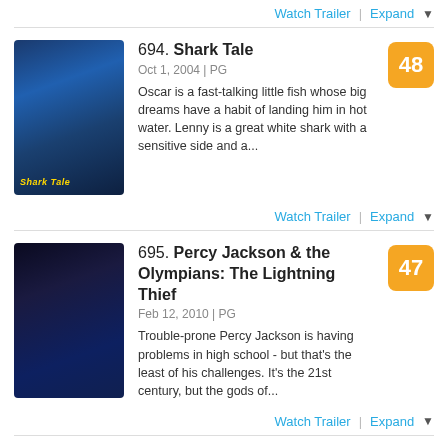Watch Trailer | Expand
694. Shark Tale
Oct 1, 2004 | PG
Oscar is a fast-talking little fish whose big dreams have a habit of landing him in hot water. Lenny is a great white shark with a sensitive side and a...
Score: 48
Watch Trailer | Expand
695. Percy Jackson & the Olympians: The Lightning Thief
Feb 12, 2010 | PG
Trouble-prone Percy Jackson is having problems in high school - but that's the least of his challenges. It's the 21st century, but the gods of...
Score: 47
Watch Trailer | Expand
696. Crown Vic
Nov 8, 2019 | R
Score: 47